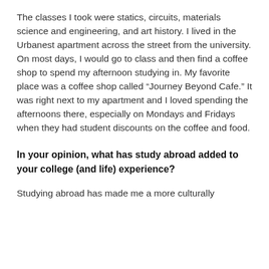The classes I took were statics, circuits, materials science and engineering, and art history. I lived in the Urbanest apartment across the street from the university. On most days, I would go to class and then find a coffee shop to spend my afternoon studying in. My favorite place was a coffee shop called “Journey Beyond Cafe.” It was right next to my apartment and I loved spending the afternoons there, especially on Mondays and Fridays when they had student discounts on the coffee and food.
In your opinion, what has study abroad added to your college (and life) experience?
Studying abroad has made me a more culturally